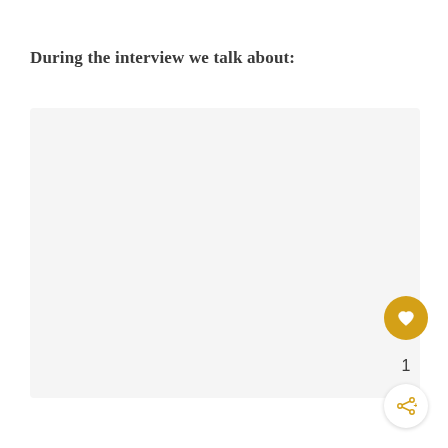During the interview we talk about:
[Figure (other): Light gray empty content box placeholder below the section header]
[Figure (other): Golden circular heart/favorite button (FAB) with heart icon, count of 1, and share button below]